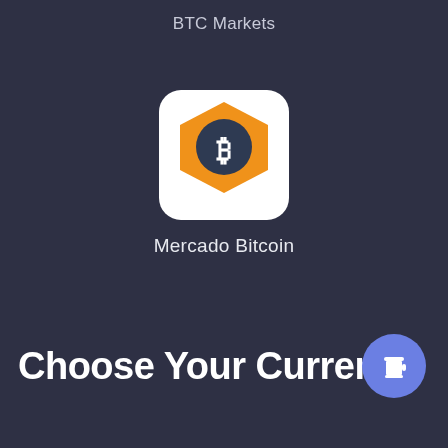BTC Markets
[Figure (logo): Mercado Bitcoin app icon: white rounded square background with an orange hexagon shape and a dark circle in the center containing a white Bitcoin (BTC) symbol]
Mercado Bitcoin
Choose Your Currency
[Figure (illustration): Blue circular button with a coffee cup icon (Buy Me a Coffee style) in the bottom-right corner]